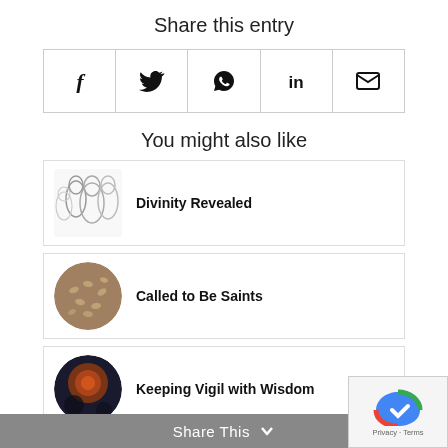Share this entry
[Figure (infographic): Social share icons: Facebook (f), Twitter (bird), WhatsApp (phone), LinkedIn (in), Email (envelope) in a bordered row]
You might also like
[Figure (illustration): Thumbnail image showing outline sketch of figures for Divinity Revealed]
Divinity Revealed
[Figure (photo): Circular thumbnail of seeds/grains for Called to Be Saints]
Called to Be Saints
[Figure (photo): Circular thumbnail of warm-toned object for Keeping Vigil with Wisdom]
Keeping Vigil with Wisdom
Share This